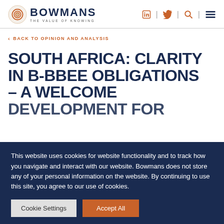[Figure (logo): Bowmans law firm logo with spiral shell icon, name BOWMANS in dark navy, tagline THE VALUE OF KNOWING, and navigation icons for LinkedIn, Twitter, search, and menu in orange/dark navy]
< BACK TO OPINION AND ANALYSIS
SOUTH AFRICA: CLARITY IN B-BBEE OBLIGATIONS – A WELCOME DEVELOPMENT FOR
This website uses cookies for website functionality and to track how you navigate and interact with our website. Bowmans does not store any of your personal information on the website. By continuing to use this site, you agree to our use of cookies.
Cookie Settings   Accept All